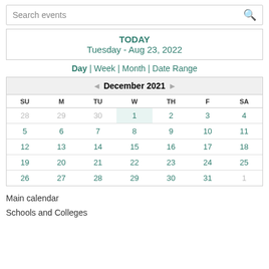Search events
TODAY
Tuesday - Aug 23, 2022
Day | Week | Month | Date Range
| SU | M | TU | W | TH | F | SA |
| --- | --- | --- | --- | --- | --- | --- |
| 28 | 29 | 30 | 1 | 2 | 3 | 4 |
| 5 | 6 | 7 | 8 | 9 | 10 | 11 |
| 12 | 13 | 14 | 15 | 16 | 17 | 18 |
| 19 | 20 | 21 | 22 | 23 | 24 | 25 |
| 26 | 27 | 28 | 29 | 30 | 31 | 1 |
Main calendar
Schools and Colleges